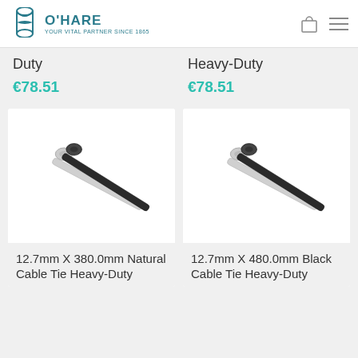O'HARE - YOUR VITAL PARTNER SINCE 1865
Duty
€78.51
Heavy-Duty
€78.51
[Figure (photo): Two cable ties (one natural/white, one black) shown side by side diagonally]
12.7mm X 380.0mm Natural Cable Tie Heavy-Duty
[Figure (photo): Two cable ties (one natural/white, one black) shown side by side diagonally]
12.7mm X 480.0mm Black Cable Tie Heavy-Duty